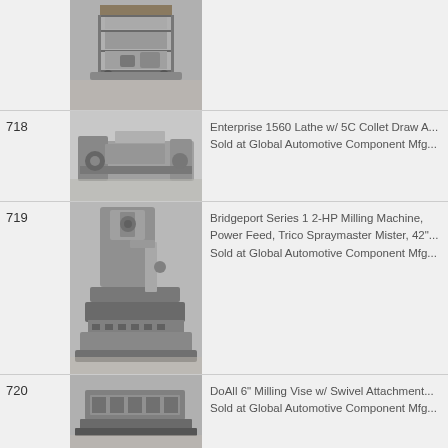[Figure (photo): Photo of a metal utility/shop cart with shelves in an industrial setting]
718
[Figure (photo): Photo of an Enterprise 1560 Lathe with 5C Collet Draw attached]
Enterprise 1560 Lathe w/ 5C Collet Draw A... Sold at Global Automotive Component Mfg...
719
[Figure (photo): Photo of a Bridgeport Series 1 2-HP Milling Machine in an industrial setting]
Bridgeport Series 1 2-HP Milling Machine, Power Feed, Trico Spraymaster Mister, 42"... Sold at Global Automotive Component Mfg...
720
[Figure (photo): Photo of a DoAll 6 inch Milling Vise with Swivel Attachment]
DoAll 6" Milling Vise w/ Swivel Attachment... Sold at Global Automotive Component Mfg...